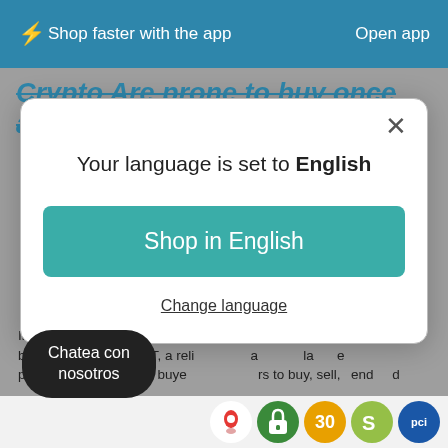⚡ Shop faster with the app   Open app
Crypto Are prone to buy once again
[Figure (screenshot): A modal dialog box with white background and rounded corners, containing the text 'Your language is set to English', a teal 'Shop in English' button, and an underlined 'Change language' link. An X close button is in the top right corner.]
In [company]'s historical past ages, Bakkt backing, NYSE: BKKT, a reliable and large platform that allows for buyers to buy, sell, send and
Chatea con nosotros